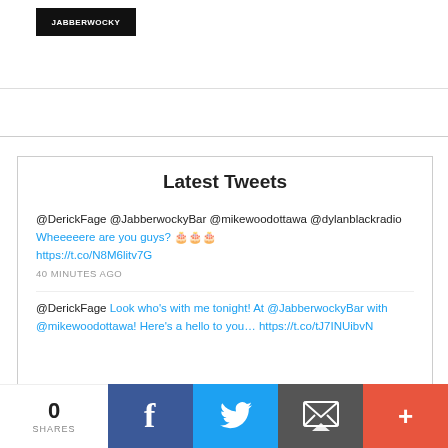[Figure (logo): Black rectangular logo box with white text]
Latest Tweets
@DerickFage @JabberwockyBar @mikewoodottawa @dylanblackradio Wheeeeere are you guys? 🎂🎂🎂 https://t.co/N8M6litv7G
40 MINUTES AGO
@DerickFage Look who's with me tonight! At @JabberwockyBar with @mikewoodottawa! Here's a hello to you… https://t.co/tJ7INUibvN
0 SHARES | Facebook | Twitter | Email | More